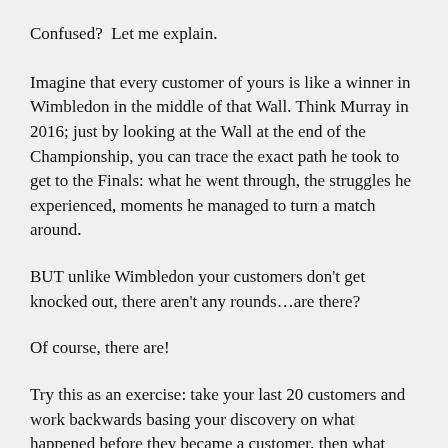Confused?  Let me explain.
Imagine that every customer of yours is like a winner in Wimbledon in the middle of that Wall. Think Murray in 2016; just by looking at the Wall at the end of the Championship, you can trace the exact path he took to get to the Finals: what he went through, the struggles he experienced, moments he managed to turn a match around.
BUT unlike Wimbledon your customers don't get knocked out, there aren't any rounds…are there?
Of course, there are!
Try this as an exercise: take your last 20 customers and work backwards basing your discovery on what happened before they became a customer, then what happened before that, and before that, until you get right back to when they were just a lead.